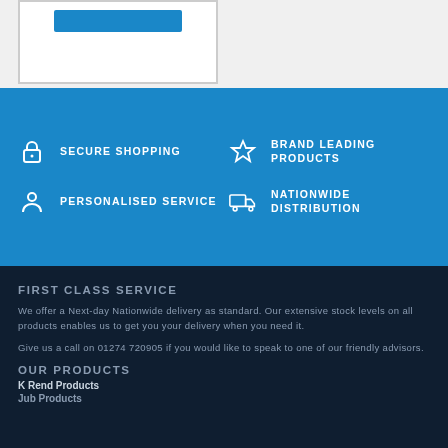[Figure (illustration): Product image box with a blue button bar at top, on a light grey background]
SECURE SHOPPING
BRAND LEADING PRODUCTS
PERSONALISED SERVICE
NATIONWIDE DISTRIBUTION
FIRST CLASS SERVICE
We offer a Next-day Nationwide delivery as standard. Our extensive stock levels on all products enables us to get you your delivery when you need it.
Give us a call on 01274 720905 if you would like to speak to one of our friendly advisors.
OUR PRODUCTS
K Rend Products
Jub Products